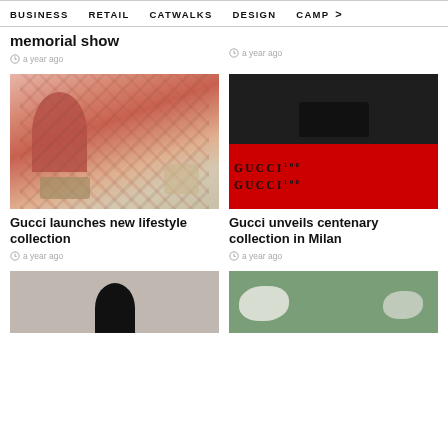BUSINESS  RETAIL  CATWALKS  DESIGN  CAMP >
memorial show
a year ago
a year ago
[Figure (photo): Woman in red outfit arranging flowers on a floral tablecloth with Gucci accessories — Gucci lifestyle collection campaign image]
Gucci launches new lifestyle collection
a year ago
[Figure (photo): Close-up of a dark leather Gucci bag handle over a red banner with 'GUCCI 100' text repeated — Gucci centenary collection campaign image]
Gucci unveils centenary collection in Milan
a year ago
[Figure (photo): Partial image of a figure with dark hair, cropped — bottom left article thumbnail]
[Figure (photo): White horses in a green field — bottom right article thumbnail]